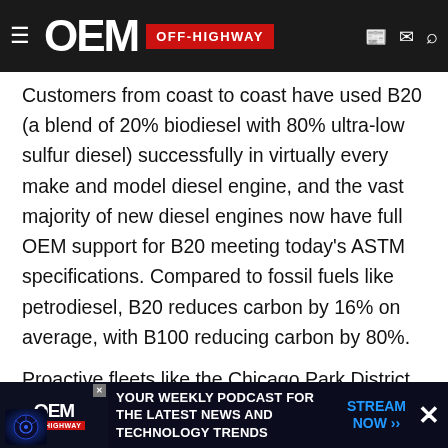OEM OFF-HIGHWAY
Customers from coast to coast have used B20 (a blend of 20% biodiesel with 80% ultra-low sulfur diesel) successfully in virtually every make and model diesel engine, and the vast majority of new diesel engines now have full OEM support for B20 meeting today's ASTM specifications. Compared to fossil fuels like petrodiesel, B20 reduces carbon by 16% on average, with B100 reducing carbon by 80%.
Proactive fleets like the Chicago Park District have realized significant benefits from using biodiesel blends in their operations. With one of the highest asthma rates in the country, Chicago was looking for an effective and sustainable ... as well as addressing ... the
[Figure (other): OEM Off-Highway advertisement banner for weekly podcast, showing OEM logo and text 'YOUR WEEKLY PODCAST FOR THE LATEST NEWS AND TECHNOLOGY TRENDS' with 'STREAM NOW >>' button]